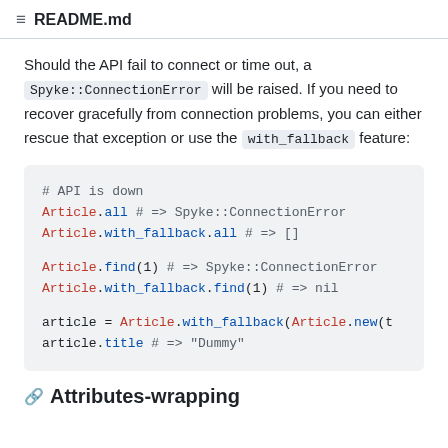README.md
Should the API fail to connect or time out, a Spyke::ConnectionError will be raised. If you need to recover gracefully from connection problems, you can either rescue that exception or use the with_fallback feature:
[Figure (screenshot): Ruby code block showing API fallback usage with Spyke::ConnectionError, Article.all, Article.with_fallback.all, Article.find(1), Article.with_fallback.find(1), article = Article.with_fallback(Article.new(t, article.title # => 'Dummy']
Attributes-wrapping